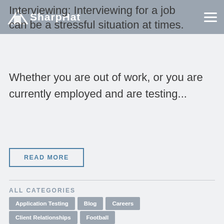SharpHat
Interviewing: Interviewing for a job can be a stressful situation at times.
Whether you are out of work, or you are currently employed and are testing...
READ MORE
ALL CATEGORIES
Application Testing
Blog
Careers
Client Relationships
Football
Interviewing
Meg Dowd
Mike Perri